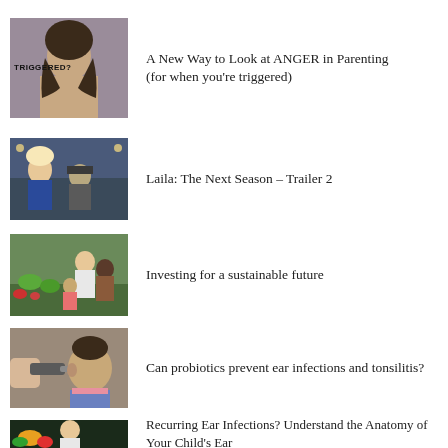A New Way to Look at ANGER in Parenting (for when you’re triggered)
Laila: The Next Season – Trailer 2
Investing for a sustainable future
Can probiotics prevent ear infections and tonsilitis?
Recurring Ear Infections? Understand the Anatomy of Your Child’s Ear